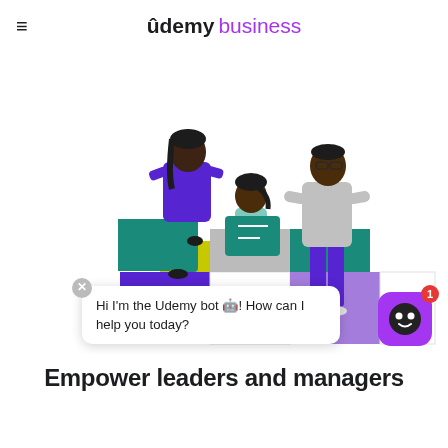≡  udemy business
[Figure (illustration): Illustration of three people (two women and one man) working together to climb and build steps made of colorful blocks (purple, teal, yellow, gray, white). One woman in a purple jacket steps up, a woman in teal sits on a block holding a folder, and a man in a gray sweater and purple pants assists. A chat bubble reads 'Hi I'm the Udemy bot 🤖! How can I help you today?' with a purple bot icon with a smiley face and a red badge showing '1' on the right.]
Empower leaders and managers